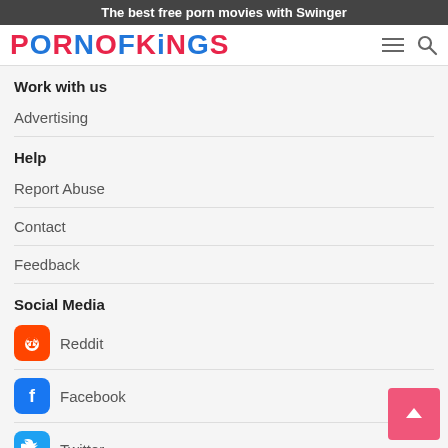The best free porn movies with Swinger
PORNOFKINGS
Work with us
Advertising
Help
Report Abuse
Contact
Feedback
Social Media
Reddit
Facebook
Twitter